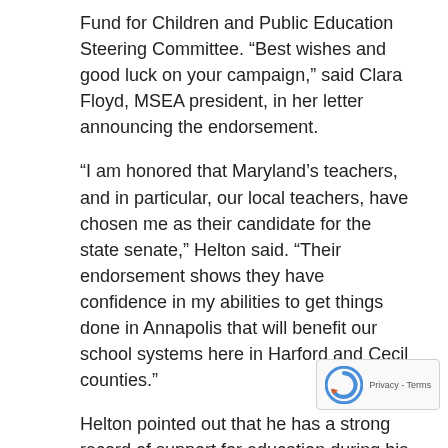Fund for Children and Public Education Steering Committee. “Best wishes and good luck on your campaign,” said Clara Floyd, MSEA president, in her letter announcing the endorsement.
“I am honored that Maryland’s teachers, and in particular, our local teachers, have chosen me as their candidate for the state senate,” Helton said. “Their endorsement shows they have confidence in my abilities to get things done in Annapolis that will benefit our school systems here in Harford and Cecil counties.”
Helton pointed out that he has a strong record of support for education during his previous stint as a Senator during the 1980’s. “I was instrumental in Harford County receiving state funding for 12 new schools during my term, a feat not achieved by our current senator during her 12 yea… office,” Helton said. “I was responsible for many legis… initiatives that are now law, including legislation incre… the State’s share of funding for Community Colleges and a
[Figure (other): reCAPTCHA badge with logo and Privacy - Terms text]